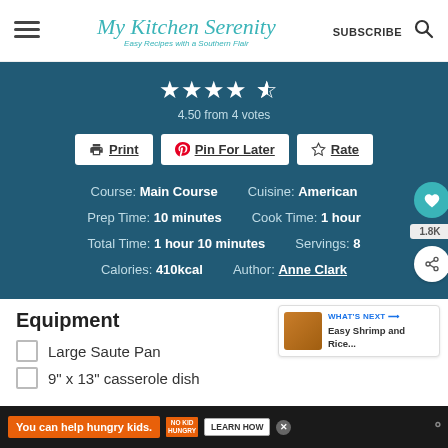My Kitchen Serenity — Easy Recipes with a Southern Flair | SUBSCRIBE
[Figure (infographic): Recipe card with star rating 4.50 from 4 votes, Print/Pin For Later/Rate buttons, course info: Main Course, Cuisine: American, Prep Time: 10 minutes, Cook Time: 1 hour, Total Time: 1 hour 10 minutes, Servings: 8, Calories: 410kcal, Author: Anne Clark]
Equipment
Large Saute Pan
9" x 13" casserole dish
WHAT'S NEXT → Easy Shrimp and Rice...
You can help hungry kids. NO KID HUNGRY LEARN HOW